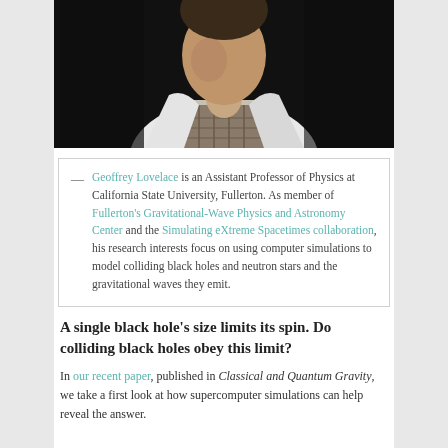[Figure (photo): Portrait photo of a person in a white lab coat against a dark background, cropped from shoulders up.]
— Geoffrey Lovelace is an Assistant Professor of Physics at California State University, Fullerton. As member of Fullerton's Gravitational-Wave Physics and Astronomy Center and the Simulating eXtreme Spacetimes collaboration, his research interests focus on using computer simulations to model colliding black holes and neutron stars and the gravitational waves they emit.
A single black hole's size limits its spin. Do colliding black holes obey this limit?
In our recent paper, published in Classical and Quantum Gravity, we take a first look at how supercomputer simulations can help reveal the answer.